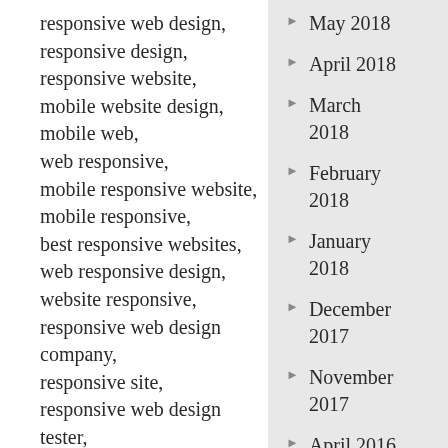responsive web design, responsive design, responsive website, mobile website design, mobile web, web responsive, mobile responsive website, mobile responsive, best responsive websites, web responsive design, website responsive, responsive web design company, responsive site, responsive web design tester, mobile friendly website design, responsive web development, mobile first, responsive design website, responsive site design,
May 2018
April 2018
March 2018
February 2018
January 2018
December 2017
November 2017
April 2016